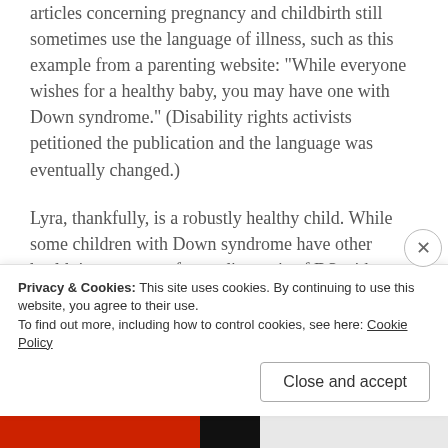articles concerning pregnancy and childbirth still sometimes use the language of illness, such as this example from a parenting website: “While everyone wishes for a healthy baby, you may have one with Down syndrome.” (Disability rights activists petitioned the publication and the language was eventually changed.)
Lyra, thankfully, is a robustly healthy child. While some children with Down syndrome have other health issues, to confuse a diagnosis of DS with poor health is as incorrect as confusing deafness or blindness as poor health.
Privacy & Cookies: This site uses cookies. By continuing to use this website, you agree to their use.
To find out more, including how to control cookies, see here: Cookie Policy
Close and accept